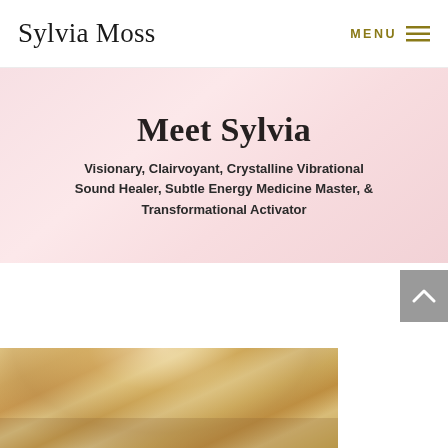Sylvia Moss
Meet Sylvia
Visionary, Clairvoyant, Crystalline Vibrational Sound Healer, Subtle Energy Medicine Master, & Transformational Activator
[Figure (photo): Photo of Sylvia Moss showing a woman with curly blonde/white hair, partially visible, with bookshelves in background]